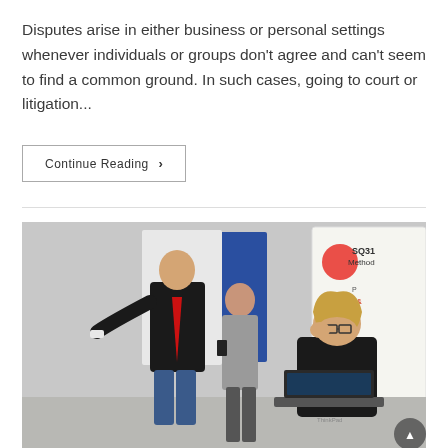Disputes arise in either business or personal settings whenever individuals or groups don't agree and can't seem to find a common ground. In such cases, going to court or litigation...
Continue Reading ›
[Figure (photo): Office dispute scene: three people in a meeting room, one man in a suit leaning over another person while a third person stands nearby holding a phone. A woman with glasses sits at a laptop looking stressed with her hand on her head. A whiteboard with 'SQ31 Method' is visible in the background.]